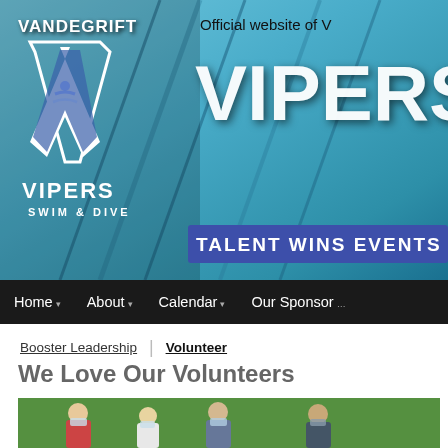[Figure (screenshot): Vandegrift Vipers Swim & Dive team website header banner with pool background, logo (large white V with blue swimming figure), and text 'Official website of V... VIPERS' and 'TALENT WINS EVENTS' on a blue banner]
Home | About | Calendar | Our Sponsors
Booster Leadership | Volunteer
We Love Our Volunteers
[Figure (photo): Group of volunteers wearing masks standing outdoors in front of green pine trees]